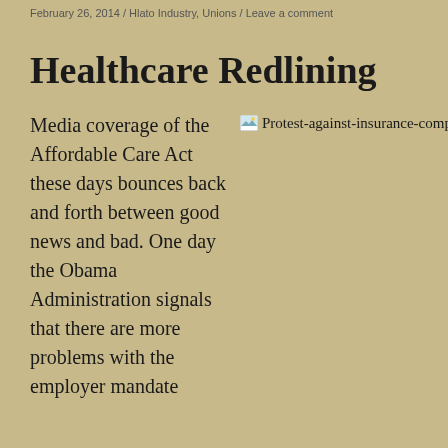February 26, 2014 / Hlato Industry, Unions / Leave a comment
Healthcare Redlining
Media coverage of the Affordable Care Act these days bounces back and forth between good news and bad. One day the Obama Administration signals that there are more problems with the employer mandate
[Figure (photo): Protest-against-insurance-companies-in-Washington_3951547284_m-250x176 — broken image placeholder showing alt text of a protest against insurance companies in Washington]